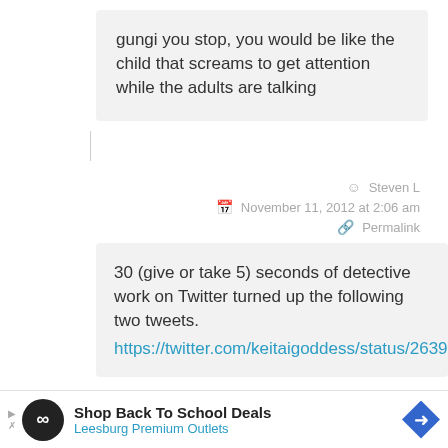gungi you stop, you would be like the child that screams to get attention while the adults are talking
Steven L
November 11, 2012 at 2:06 am
Permalink
30 (give or take 5) seconds of detective work on Twitter turned up the following two tweets. https://twitter.com/keitaigoddess/status/2639
Shop Back To School Deals
Leesburg Premium Outlets